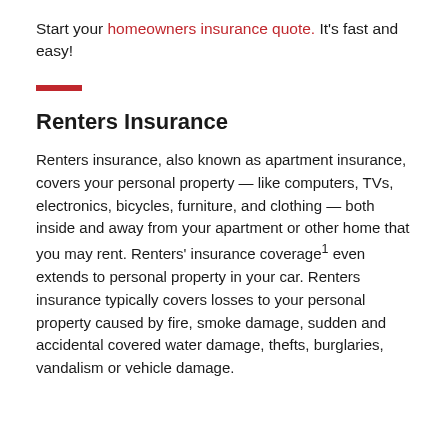Start your homeowners insurance quote. It's fast and easy!
Renters Insurance
Renters insurance, also known as apartment insurance, covers your personal property — like computers, TVs, electronics, bicycles, furniture, and clothing — both inside and away from your apartment or other home that you may rent. Renters' insurance coverage¹ even extends to personal property in your car. Renters insurance typically covers losses to your personal property caused by fire, smoke damage, sudden and accidental covered water damage, thefts, burglaries, vandalism or vehicle damage.